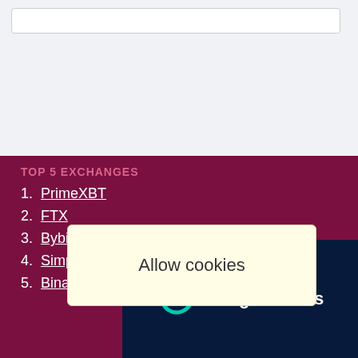TOP 5 EXCHANGES
1. PrimeXBT
2. FTX
3. Bybit
4. SimpleFX
5. Binance
[Figure (screenshot): Funganomics advertisement overlay with dark navy background and teal/green logo]
Allow cookies